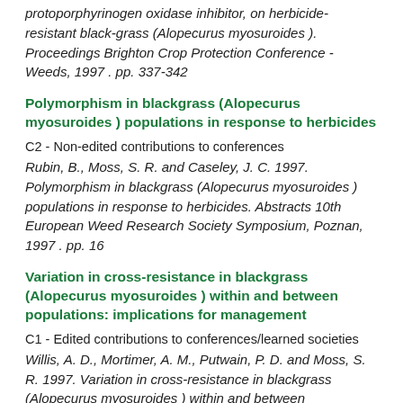protoporphyrinogen oxidase inhibitor, on herbicide-resistant black-grass (Alopecurus myosuroides ). Proceedings Brighton Crop Protection Conference - Weeds, 1997 . pp. 337-342
Polymorphism in blackgrass (Alopecurus myosuroides ) populations in response to herbicides
C2 - Non-edited contributions to conferences
Rubin, B., Moss, S. R. and Caseley, J. C. 1997. Polymorphism in blackgrass (Alopecurus myosuroides ) populations in response to herbicides. Abstracts 10th European Weed Research Society Symposium, Poznan, 1997 . pp. 16
Variation in cross-resistance in blackgrass (Alopecurus myosuroides ) within and between populations: implications for management
C1 - Edited contributions to conferences/learned societies
Willis, A. D., Mortimer, A. M., Putwain, P. D. and Moss, S. R. 1997. Variation in cross-resistance in blackgrass (Alopecurus myosuroides ) within and between populations: implications